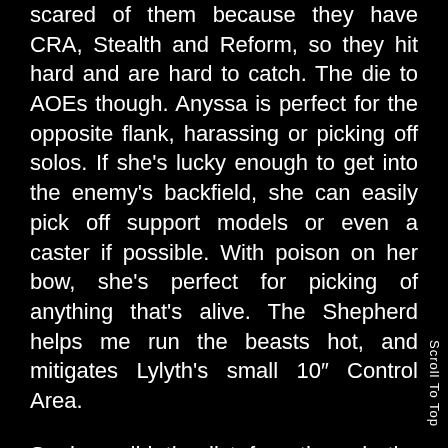scared of them because they have CRA, Stealth and Reform, so they hit hard and are hard to catch. The die to AOEs though. Anyssa is perfect for the opposite flank, harassing or picking off solos. If she's lucky enough to get into the enemy's backfield, she can easily pick off support models or even a caster if possible. With poison on her bow, she's perfect for picking of anything that's alive. The Shepherd helps me run the beasts hot, and mitigates Lylyth's small 10″ Control Area.
So how did the list fare through the theorymachine? Decently well. It'll have a rough time against Trolls, or other Tough armies, and it'll suffer when going against large swathes of Incorporeal models, but otherwise it's fairly solid. If this were one of my two lists in a tournament, I'd probably tailor my second...